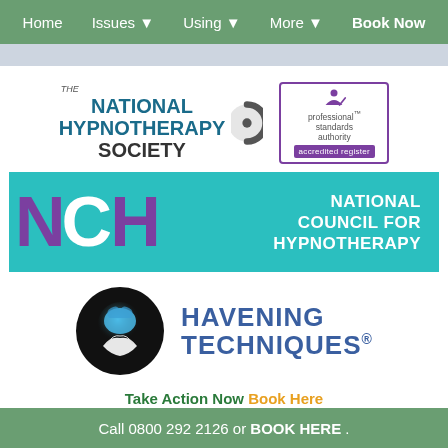Home  Issues ▼  Using ▼  More ▼  Book Now
[Figure (logo): The National Hypnotherapy Society logo with teal text and semicircle icon, alongside Professional Standards Authority accredited register badge]
[Figure (logo): NCH National Council for Hypnotherapy banner — teal background with large purple/white NCH letters and white text]
[Figure (logo): Havening Techniques logo — black circle with glowing brain and hand, blue text]
Take Action Now Book Here
For emergency mental health support click here.
Call 0800 292 2126 or BOOK HERE .